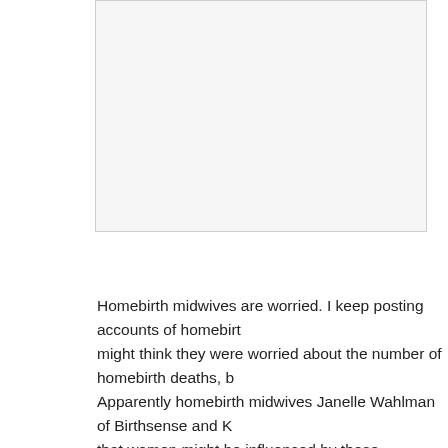[Figure (screenshot): Gray comment/text input box area at the top of the page]
Homebirth midwives are worried. I keep posting accounts of homebirth deaths, but you might think they were worried about the number of homebirth deaths, but they're not. Apparently homebirth midwives Janelle Wahlman of Birthsense and K... are worried that women might be influenced by these accounts. Therefore, they've decided to neutralize them.
Janelle is shocked, shocked that I might use accounts of homebirth deaths to illustrate the dangers of homebirth. After all, that's the favored tactic of homebirth advocates to promote homebirth. Every homebirth advocacy website and publication is chock full of glowing birth stories about wonderful, "empowering" homebirths. Evidently homebirth advocates want women to read only the stories with good outcomes; the many stories that end in death shouldn't be published at all.
Too late for that. I already posted the story. The only thing left to do is to try to refute the points that I have made. Unforuntely, it attempting to do so, Wahlm... exposes all the inane logical fallacies that characterize homebirth advocacy. Janell...